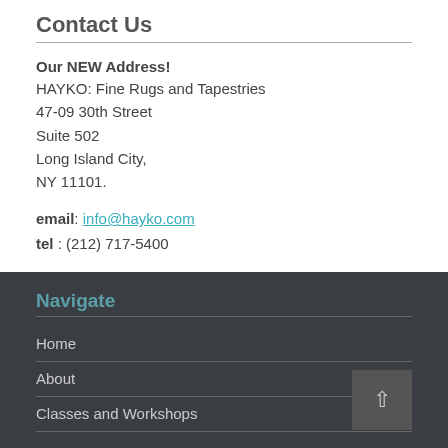Contact Us
Our NEW Address!
HAYKO: Fine Rugs and Tapestries
47-09 30th Street
Suite 502
Long Island City,
NY 11101.
email: info@hayko.com
tel : (212) 717-5400
Navigate
Home
About
Classes and Workshops